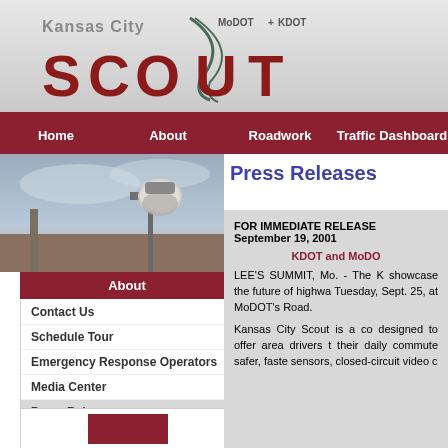[Figure (logo): Kansas City Scout MoDOT + KDOT logo with stylized SCOUT lettering on grey gradient background]
Home | About | Roadwork | Traffic Dashboard
[Figure (photo): Security/traffic camera mounted on pole against overcast sky]
About
Contact Us
Schedule Tour
Emergency Response Operators
Media Center
Press Releases
Monthly Reports
Annual Report
User License
Privacy Policy
Press Releases
FOR IMMEDIATE RELEASE
September 19, 2001
KDOT and MoDO
LEE'S SUMMIT, Mo. - The K showcase the future of highwa Tuesday, Sept. 25, at MoDOT's Road.
Kansas City Scout is a co designed to offer area drivers t their daily commute safer, faste sensors, closed-circuit video c